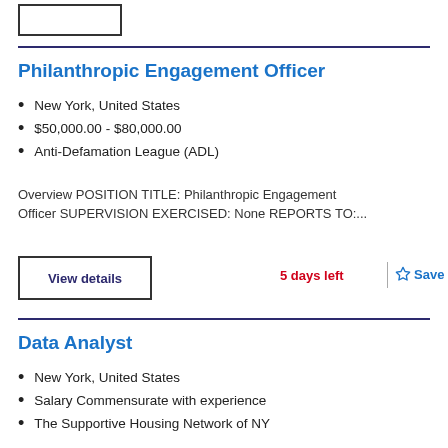Philanthropic Engagement Officer
New York, United States
$50,000.00 - $80,000.00
Anti-Defamation League (ADL)
Overview POSITION TITLE: Philanthropic Engagement Officer SUPERVISION EXERCISED: None REPORTS TO:...
Data Analyst
New York, United States
Salary Commensurate with experience
The Supportive Housing Network of NY